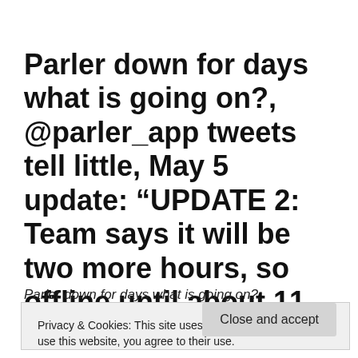Parler down for days what is going on?, @parler_app tweets tell little, May 5 update: “UPDATE 2: Team says it will be two more hours, so offline until about 11 am”???
Parler down for days what is going on?, @parler_app
Privacy & Cookies: This site uses cookies. By continuing to use this website, you agree to their use.
To find out more, including how to control cookies, see here: Cookie Policy